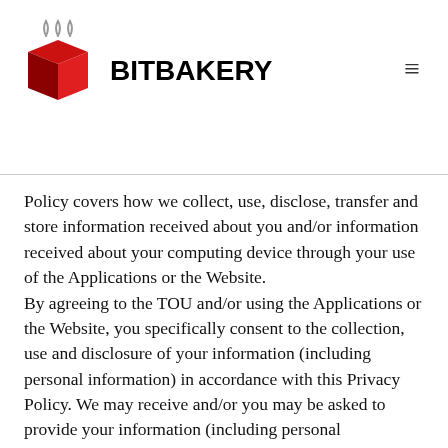BITBAKERY
Policy covers how we collect, use, disclose, transfer and store information received about you and/or information received about your computing device through your use of the Applications or the Website. By agreeing to the TOU and/or using the Applications or the Website, you specifically consent to the collection, use and disclosure of your information (including personal information) in accordance with this Privacy Policy. We may receive and/or you may be asked to provide your information (including personal information) anytime you are in contact with us